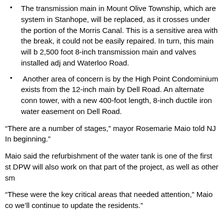The transmission main in Mount Olive Township, which are system in Stanhope, will be replaced, as it crosses under the portion of the Morris Canal. This is a sensitive area with the break, it could not be easily repaired. In turn, this main will be 2,500 foot 8-inch transmission main and valves installed adj and Waterloo Road.
Another area of concern is by the High Point Condominium exists from the 12-inch main by Dell Road. An alternate conn tower, with a new 400-foot length, 8-inch ductile iron water easement on Dell Road.
“There are a number of stages,” mayor Rosemarie Maio told NJ In beginning.”
Maio said the refurbishment of the water tank is one of the first st DPW will also work on that part of the project, as well as other sm
“These were the key critical areas that needed attention,” Maio co we’ll continue to update the residents.”